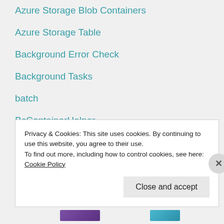Azure Storage Blob Containers
Azure Storage Table
Background Error Check
Background Tasks
batch
BcContainerHelper
BindSubscription
Business Central headlines in role center
Business Central On-Premise installation
Privacy & Cookies: This site uses cookies. By continuing to use this website, you agree to their use.
To find out more, including how to control cookies, see here: Cookie Policy
Close and accept